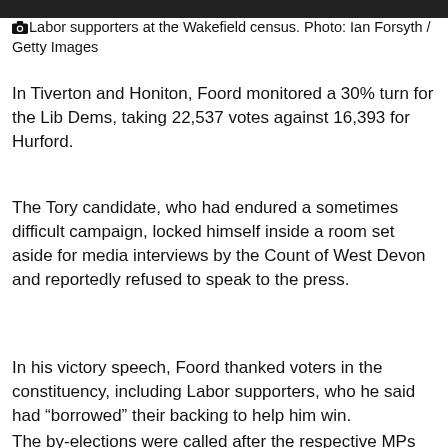[Figure (photo): Dark photo strip of Labor supporters at the Wakefield census]
Labor supporters at the Wakefield census. Photo: Ian Forsyth / Getty Images
In Tiverton and Honiton, Foord monitored a 30% turn for the Lib Dems, taking 22,537 votes against 16,393 for Hurford.
The Tory candidate, who had endured a sometimes difficult campaign, locked himself inside a room set aside for media interviews by the Count of West Devon and reportedly refused to speak to the press.
In his victory speech, Foord thanked voters in the constituency, including Labor supporters, who he said had “borrowed” their backing to help him win.
The scale of tactical polls in which Labor received 1,562 votes in Tiverton and Honiton, while the Lib Dem candidate in Wakefield received only 508, will further alert Conservative officials and MPs.
The by-elections were called after the respective MPs